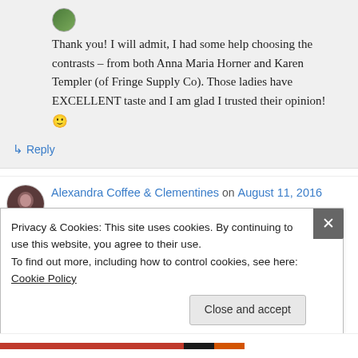Thank you! I will admit, I had some help choosing the contrasts – from both Anna Maria Horner and Karen Templer (of Fringe Supply Co). Those ladies have EXCELLENT taste and I am glad I trusted their opinion! 🙂
↳ Reply
Alexandra Coffee & Clementines on August 11, 2016
Privacy & Cookies: This site uses cookies. By continuing to use this website, you agree to their use.
To find out more, including how to control cookies, see here: Cookie Policy
Close and accept